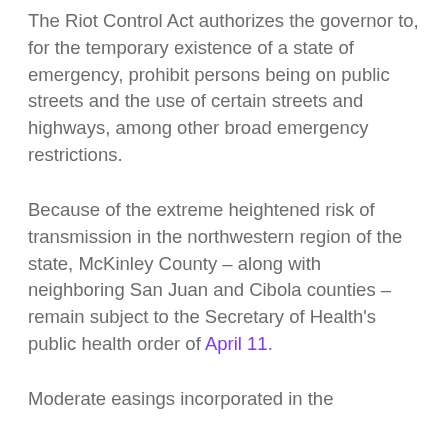The Riot Control Act authorizes the governor to, for the temporary existence of a state of emergency, prohibit persons being on public streets and the use of certain streets and highways, among other broad emergency restrictions.
Because of the extreme heightened risk of transmission in the northwestern region of the state, McKinley County – along with neighboring San Juan and Cibola counties – remain subject to the Secretary of Health's public health order of April 11.
Moderate easings incorporated in the